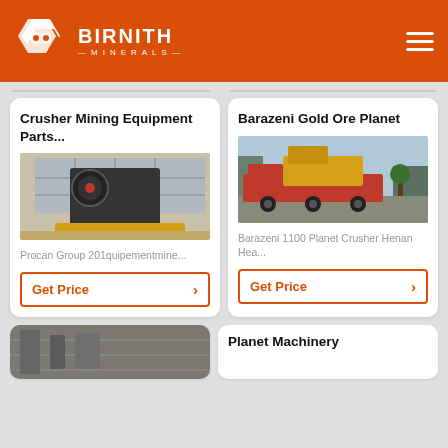BIRNITH MINERALS
Crusher Mining Equipment Parts...
[Figure (photo): Large industrial jaw crusher machine in a factory/warehouse setting]
Procan Group 201quipementmine...
Get Price
Barazeni Gold Ore Planet
[Figure (photo): Red and yellow mining truck/vehicle loaded with equipment outdoors]
Barazeni 1100 Planet Crusher Henan Hea...
Get Price
Planet Machinery